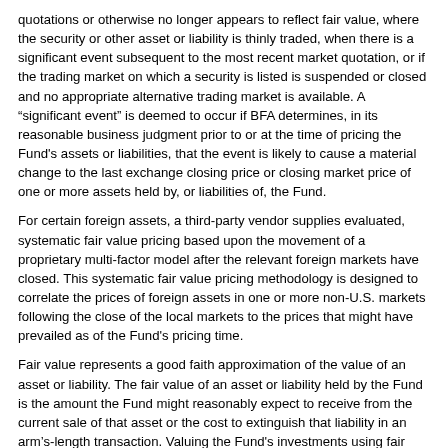quotations or otherwise no longer appears to reflect fair value, where the security or other asset or liability is thinly traded, when there is a significant event subsequent to the most recent market quotation, or if the trading market on which a security is listed is suspended or closed and no appropriate alternative trading market is available. A "significant event" is deemed to occur if BFA determines, in its reasonable business judgment prior to or at the time of pricing the Fund's assets or liabilities, that the event is likely to cause a material change to the last exchange closing price or closing market price of one or more assets held by, or liabilities of, the Fund.
For certain foreign assets, a third-party vendor supplies evaluated, systematic fair value pricing based upon the movement of a proprietary multi-factor model after the relevant foreign markets have closed. This systematic fair value pricing methodology is designed to correlate the prices of foreign assets in one or more non-U.S. markets following the close of the local markets to the prices that might have prevailed as of the Fund's pricing time.
Fair value represents a good faith approximation of the value of an asset or liability. The fair value of an asset or liability held by the Fund is the amount the Fund might reasonably expect to receive from the current sale of that asset or the cost to extinguish that liability in an arm's-length transaction. Valuing the Fund's investments using fair value pricing will result in prices that may differ from current market valuations and that may not be the prices at which those investments could have been sold during the period in which the particular fair values were used. Use of fair value prices and certain current market valuations could result in a difference between the prices used to calculate the Fund's NAV and the prices used by the Underlying Index, which, in turn, could result in a difference between the Fund's performance and the performance of the Underlying Index.